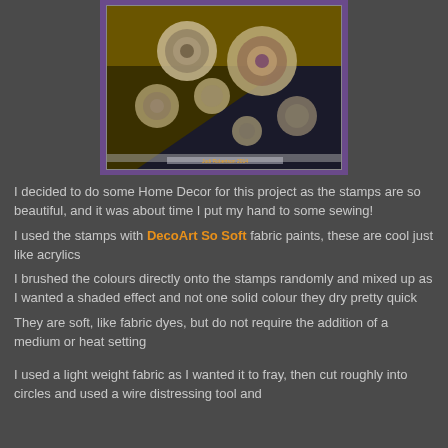[Figure (photo): A framed photograph with purple border showing rolled/coiled fabric or textile pieces arranged on a dark background with warm golden lighting. Watermark reads 'Jodi Robertson 2014'.]
I decided to do some Home Decor for this project as the stamps are so beautiful, and it was about time I put my hand to some sewing!
I used the stamps with DecoArt So Soft fabric paints, these are cool just like acrylics
I brushed the colours directly onto the stamps randomly and mixed up as I wanted a shaded effect and not one solid colour they dry pretty quick
They are soft, like fabric dyes, but do not require the addition of a medium or heat setting
I used a light weight fabric as I wanted it to fray, then cut roughly into circles and used a wire distressing tool and